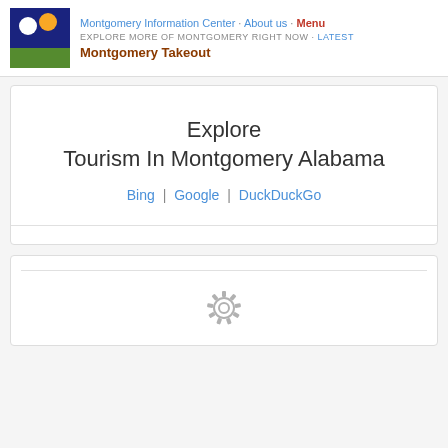Montgomery Information Center · About us · Menu
EXPLORE MORE OF MONTGOMERY RIGHT NOW · Latest
Montgomery Takeout
Explore
Tourism In Montgomery Alabama
Bing | Google | DuckDuckGo
[Figure (logo): Gear / loading spinner icon]